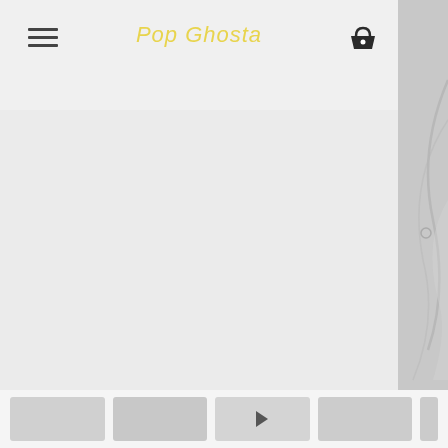Pop Ghosta - navigation header with hamburger menu, logo, and shopping basket
[Figure (illustration): Right side panel showing partial illustration of a figure on gray background]
[Figure (photo): Bottom thumbnail strip with 4-5 thumbnail images, third one has a video play button]